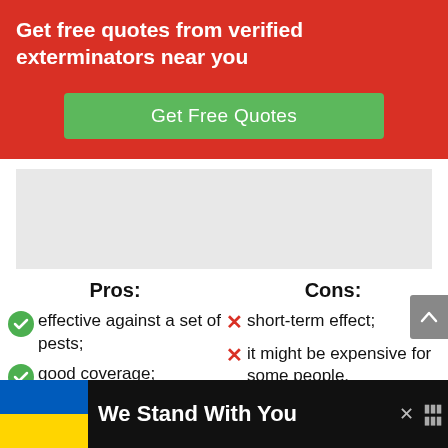Get free quotes from verified exterminators near you
Get Free Quotes
[Figure (other): Gray advertisement placeholder block]
Pros:
Cons:
effective against a set of pests;
short-term effect;
good coverage;
it might be expensive for some people.
nice smell.
[Figure (other): Bottom advertisement banner showing Ukraine flag and text 'We Stand With You']